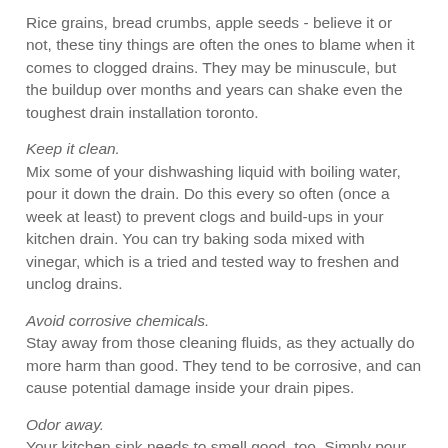Rice grains, bread crumbs, apple seeds - believe it or not, these tiny things are often the ones to blame when it comes to clogged drains. They may be minuscule, but the buildup over months and years can shake even the toughest drain installation toronto.
Keep it clean.
Mix some of your dishwashing liquid with boiling water, pour it down the drain. Do this every so often (once a week at least) to prevent clogs and build-ups in your kitchen drain. You can try baking soda mixed with vinegar, which is a tried and tested way to freshen and unclog drains.
Avoid corrosive chemicals.
Stay away from those cleaning fluids, as they actually do more harm than good. They tend to be corrosive, and can cause potential damage inside your drain pipes.
Odor away.
Your kitchen sink needs to smell good, too. Simply pour some concentrated lemon juice or vinegar into the drain at least once every two weeks. Flush it with boiling water